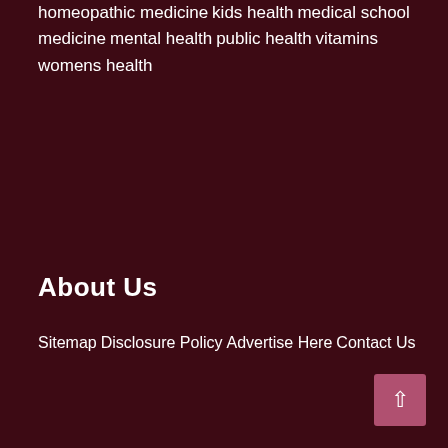homeopathic medicine
kids health
medical school
medicine
mental health
public health
vitamins
womens health
About Us
Sitemap
Disclosure Policy
Advertise Here
Contact Us